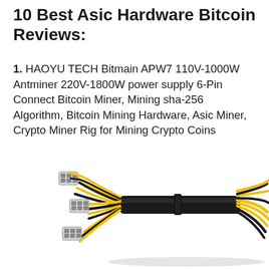10 Best Asic Hardware Bitcoin Reviews:
1. HAOYU TECH Bitmain APW7 110V-1000W Antminer 220V-1800W power supply 6-Pin Connect Bitcoin Miner, Mining sha-256 Algorithm, Bitcoin Mining Hardware, Asic Miner, Crypto Miner Rig for Mining Crypto Coins
[Figure (photo): Photo of a power supply cable bundle with black and yellow wires and white 6-pin connectors, used for Bitcoin ASIC mining hardware]